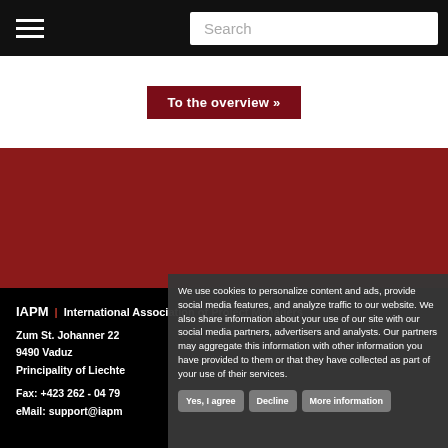Search
To the overview »
IAPM | International Association of Project Managers
Zum St. Johanner 22
9490 Vaduz
Principality of Liechtenstein
Fax: +423 262 - 04 79
eMail: support@iapm.net
We use cookies to personalize content and ads, provide social media features, and analyze traffic to our website. We also share information about your use of our site with our social media partners, advertisers and analysts. Our partners may aggregate this information with other information you have provided to them or that they have collected as part of your use of their services.
Yes, I agree | Decline | More information